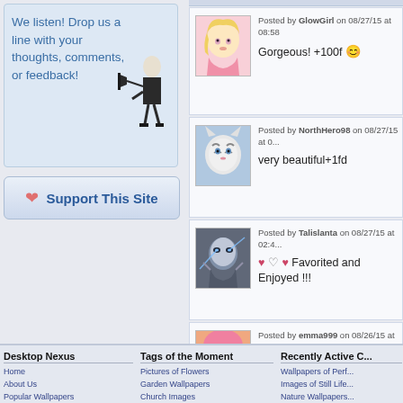We listen! Drop us a line with your thoughts, comments, or feedback!
[Figure (illustration): Man with megaphone illustration in black and white]
❤ Support This Site
Posted by GlowGirl on 08/27/15 at 08:58
Gorgeous! +100f 😊
[Figure (illustration): Anime blonde girl avatar]
Posted by NorthHero98 on 08/27/15 at 0:
very beautiful+1fd
[Figure (photo): White tiger avatar]
Posted by Talislanta on 08/27/15 at 02:4:
♥ ♡ ♥ Favorited and Enjoyed !!!
[Figure (illustration): Dark sci-fi character avatar]
Posted by emma999 on 08/26/15 at 03:3:
So pretty!
[Figure (illustration): Anime girl with pink hair and sunglasses avatar]
View All Co...
Desktop Nexus
Home
About Us
Popular Wallpapers
Popular Tags
Tags of the Moment
Pictures of Flowers
Garden Wallpapers
Church Images
Obama Wallpapers
Recently Active C...
Wallpapers of Perf...
Images of Still Life...
Nature Wallpapers...
Manga Photos...